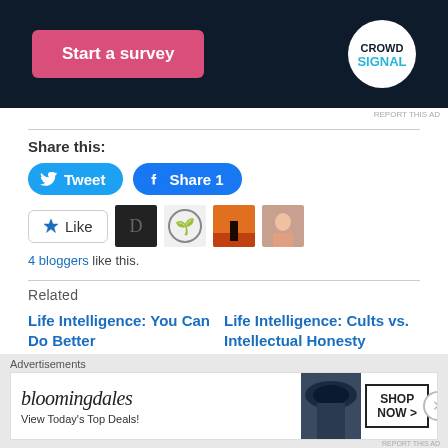[Figure (screenshot): Dark navy advertisement banner with a pink 'Start a survey' button on the left and a circular Crowdsignal logo on the right]
REPORT THIS AD
Share this:
[Figure (screenshot): Tweet button (blue, rounded, with Twitter bird icon) and Share 1 button (blue, rounded, with Facebook f icon)]
[Figure (screenshot): Like button with star icon, and four blogger avatar thumbnails]
4 bloggers like this.
Related
Life Intelligence: You Can Do Better
January 6, 2021
Life Intelligence: Cults vs. Intellectual Honesty
January 15, 2021
Advertisements
[Figure (screenshot): Bloomingdale's advertisement banner: logo, 'View Today's Top Deals!' text, a woman in a large hat, and 'SHOP NOW >' button]